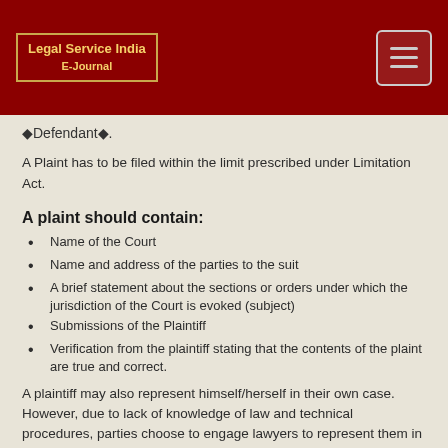Legal Service India E-Journal
«Defendant».
A Plaint has to be filed within the limit prescribed under Limitation Act.
A plaint should contain:
Name of the Court
Name and address of the parties to the suit
A brief statement about the sections or orders under which the jurisdiction of the Court is evoked (subject)
Submissions of the Plaintiff
Verification from the plaintiff stating that the contents of the plaint are true and correct.
A plaintiff may also represent himself/herself in their own case. However, due to lack of knowledge of law and technical procedures, parties choose to engage lawyers to represent them in the Court of Law.
In order to do that a Vakalatnama has to be filed along with